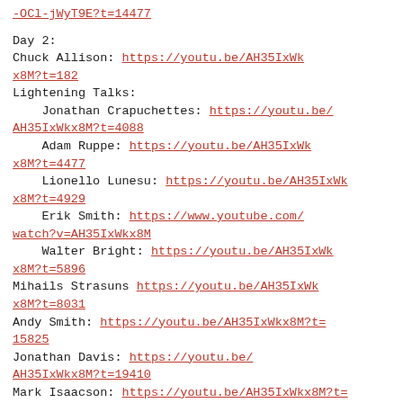-OCl-jWyT9E?t=14477
Day 2:
Chuck Allison: https://youtu.be/AH35IxWkx8M?t=182
Lightening Talks:
Jonathan Crapuchettes: https://youtu.be/AH35IxWkx8M?t=4088
Adam Ruppe: https://youtu.be/AH35IxWkx8M?t=4477
Lionello Lunesu: https://youtu.be/AH35IxWkx8M?t=4929
Erik Smith: https://www.youtube.com/watch?v=AH35IxWkx8M
Walter Bright: https://youtu.be/AH35IxWkx8M?t=5896
Mihails Strasuns https://youtu.be/AH35IxWkx8M?t=8031
Andy Smith: https://youtu.be/AH35IxWkx8M?t=15825
Jonathan Davis: https://youtu.be/AH35IxWkx8M?t=19410
Mark Isaacson: https://youtu.be/AH35IxWkx8M?t=23056
Andrei Alexandrescu: https://youtu.be/AH35IxWkx8M?t=23056